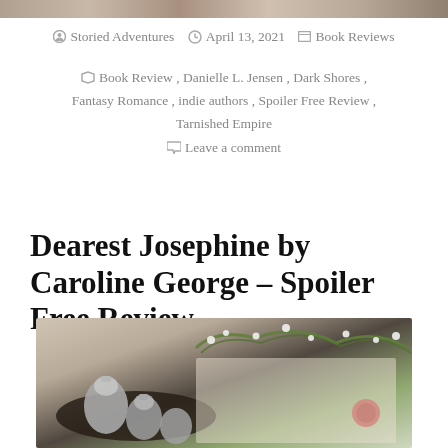[Figure (photo): Partial image at top of page, cropped book/lifestyle photo strip]
Posted by Storied Adventures   April 13, 2021   Book Reviews
Book Review, Danielle L. Jensen, Dark Shores, Fantasy Romance, indie authors, Spoiler Free Review, Tarnished Empire
Leave a comment
Dearest Josephine by Caroline George – Spoiler Free Review
[Figure (photo): Photograph showing antique metal objects (tea set or bells) on a dark tray with white baby's breath flowers and green foliage, on a light textured surface with a wax seal visible]